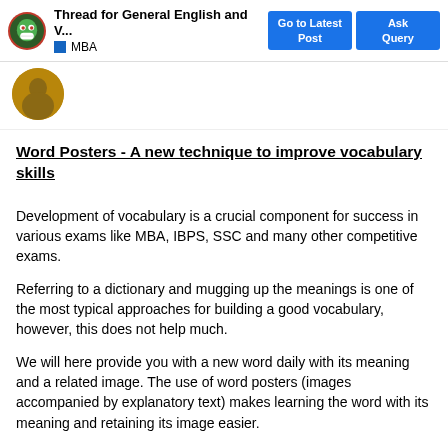Thread for General English and V... | Go to Latest Post | Ask Query | MBA
[Figure (photo): User profile avatar - circular brown/tan colored profile picture]
Word Posters - A new technique to improve vocabulary skills
Development of vocabulary is a crucial component for success in various exams like MBA, IBPS, SSC and many other competitive exams.
Referring to a dictionary and mugging up the meanings is one of the most typical approaches for building a good vocabulary, however, this does not help much.
We will here provide you with a new word daily with its meaning and a related image. The use of word posters (images accompanied by explanatory text) makes learning the word with its meaning and retaining its image easier.